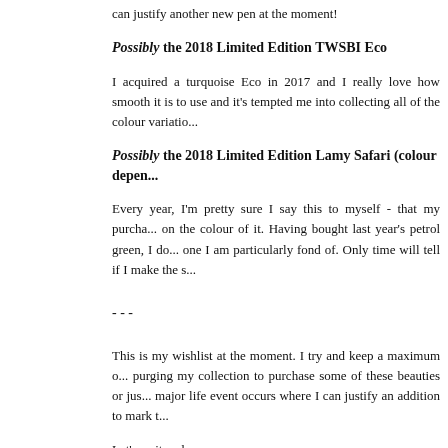can justify another new pen at the moment!
Possibly the 2018 Limited Edition TWSBI Eco
I acquired a turquoise Eco in 2017 and I really love how smooth it is to use and it's tempted me into collecting all of the colour variations.
Possibly the 2018 Limited Edition Lamy Safari (colour depending)
Every year, I'm pretty sure I say this to myself - that my purchase depends on the colour of it. Having bought last year's petrol green, I don't have one I am particularly fond of. Only time will tell if I make the s...
- - -
This is my wishlist at the moment. I try and keep a maximum of... purging my collection to purchase some of these beauties or just... major life event occurs where I can justify an addition to mark t...
Let's wait and see...
[Figure (other): Social sharing icons row: Gmail (M), Blogger (e), Twitter (t), Facebook (f), Pinterest (circle-P)]